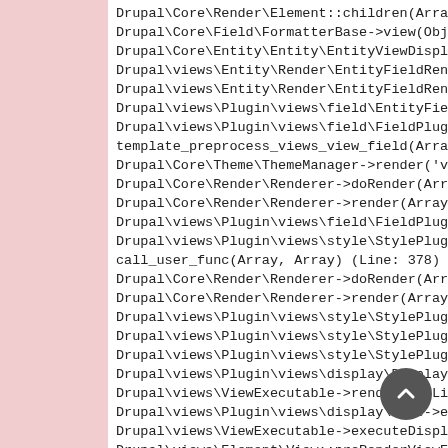Drupal\Core\Render\Element::children(Array) (Li
Drupal\Core\Field\FormatterBase->view(Object, '
Drupal\Core\Entity\Entity\EntityViewDisplay->bu
Drupal\views\Entity\Render\EntityFieldRenderer-
Drupal\views\Entity\Render\EntityFieldRenderer-
Drupal\views\Plugin\views\field\EntityField->ge
Drupal\views\Plugin\views\field\FieldPluginBase
template_preprocess_views_view_field(Array, 'vi
Drupal\Core\Theme\ThemeManager->render('views_v
Drupal\Core\Render\Renderer->doRender(Array, )
Drupal\Core\Render\Renderer->render(Array) (Lin
Drupal\views\Plugin\views\field\FieldPluginBase
Drupal\views\Plugin\views\style\StylePluginBase
call_user_func(Array, Array) (Line: 378)
Drupal\Core\Render\Renderer->doRender(Array, )
Drupal\Core\Render\Renderer->render(Array) (Lin
Drupal\views\Plugin\views\style\StylePluginBase
Drupal\views\Plugin\views\style\StylePluginBase
Drupal\views\Plugin\views\style\StylePluginBase
Drupal\views\Plugin\views\display\DisplayPlugin
Drupal\views\ViewExecutable->render() (Line: 18
Drupal\views\Plugin\views\display\Page->execute
Drupal\views\ViewExecutable->executeDisplay('pa
Drupal\views\Element\View::preRenderViewElement
call_user_func(Array, Array) (Line: 378)